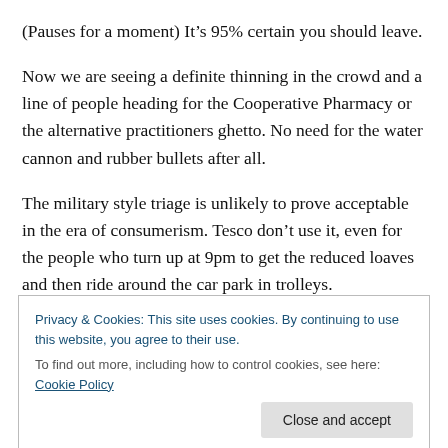(Pauses for a moment) It’s 95% certain you should leave.
Now we are seeing a definite thinning in the crowd and a line of people heading for the Cooperative Pharmacy or the alternative practitioners ghetto. No need for the water cannon and rubber bullets after all.
The military style triage is unlikely to prove acceptable in the era of consumerism. Tesco don’t use it, even for the people who turn up at 9pm to get the reduced loaves and then ride around the car park in trolleys.
Privacy & Cookies: This site uses cookies. By continuing to use this website, you agree to their use.
To find out more, including how to control cookies, see here: Cookie Policy
Close and accept
(partial bottom text, link/underlined)